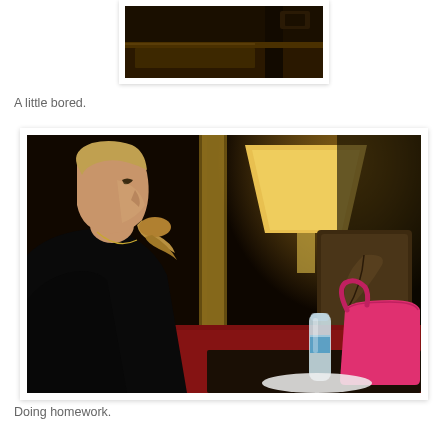[Figure (photo): Top portion of a dark interior photo showing what appears to be a table/desk scene, partially cropped]
A little bored.
[Figure (photo): A young blonde woman sitting at a table in profile view, looking downward, wearing a black shirt with a necklace. A lamp, brown decorative chair with leaf pattern, a water bottle, and a pink purse are visible in the background on the table.]
Doing homework.